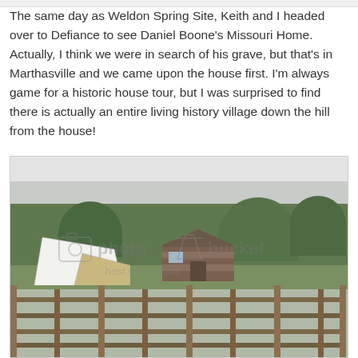The same day as Weldon Spring Site, Keith and I headed over to Defiance to see Daniel Boone's Missouri Home. Actually, I think we were in search of his grave, but that's in Marthasville and we came upon the house first. I'm always game for a historic house tour, but I was surprised to find there is actually an entire living history village down the hill from the house!
[Figure (photo): Outdoor photo of a living history village with white tents, a log cabin structure, trees in the background, and a split-rail wooden fence in the foreground. The image has a Photobucket watermark overlaid.]